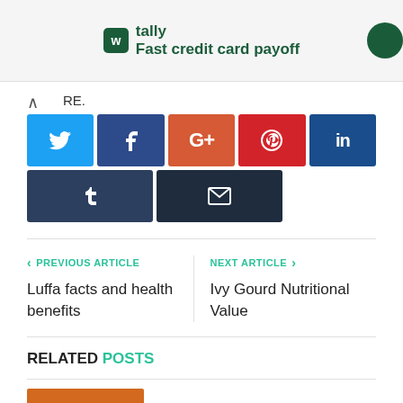[Figure (screenshot): Tally app advertisement banner with green logo and text 'Fast credit card payoff']
RE.
[Figure (infographic): Social sharing buttons: Twitter (blue), Facebook (dark blue), Google+ (orange), Pinterest (red), LinkedIn (dark blue), Tumblr (dark navy), Email (dark navy)]
< PREVIOUS ARTICLE
Luffa facts and health benefits
NEXT ARTICLE >
Ivy Gourd Nutritional Value
RELATED POSTS